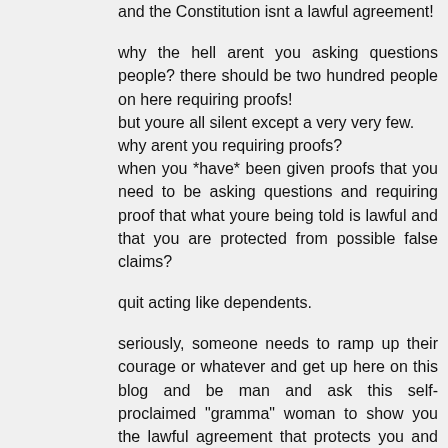and the Constitution isnt a lawful agreement!
why the hell arent you asking questions people? there should be two hundred people on here requiring proofs!
but youre all silent except a very very few.
why arent you requiring proofs?
when you *have* been given proofs that you need to be asking questions and requiring proof that what youre being told is lawful and that you are protected from possible false claims?
quit acting like dependents.
seriously, someone needs to ramp up their courage or whatever and get up here on this blog and be man and ask this self-proclaimed "gramma" woman to show you the lawful agreement that protects you and your property from potential harm.
why arent you doing that?